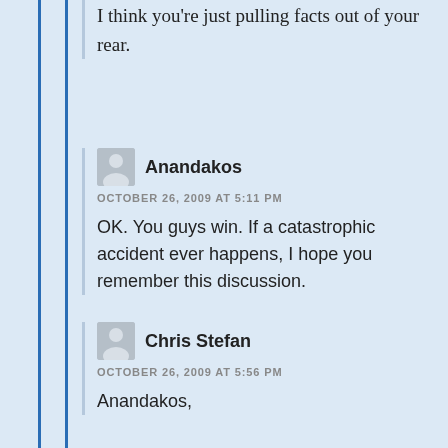I think you're just pulling facts out of your rear.
Anandakos
OCTOBER 26, 2009 AT 5:11 PM

OK. You guys win. If a catastrophic accident ever happens, I hope you remember this discussion.
Chris Stefan
OCTOBER 26, 2009 AT 5:56 PM

Anandakos,